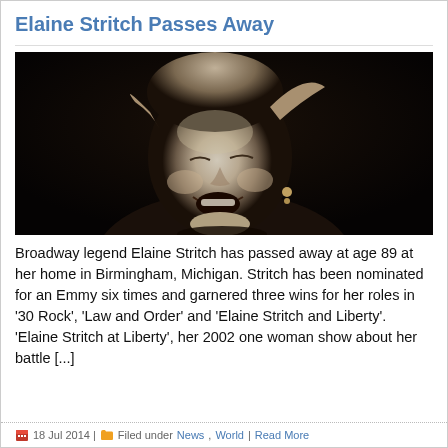Elaine Stritch Passes Away
[Figure (photo): Black and white photograph of Elaine Stritch laughing with her head tilted back, against a dark background]
Broadway legend Elaine Stritch has passed away at age 89 at her home in Birmingham, Michigan. Stritch has been nominated for an Emmy six times and garnered three wins for her roles in ‘30 Rock’, ‘Law and Order’ and ‘Elaine Stritch and Liberty’. ‘Elaine Stritch at Liberty’, her 2002 one woman show about her battle […]
18 Jul 2014 | Filed under News, World | Read More